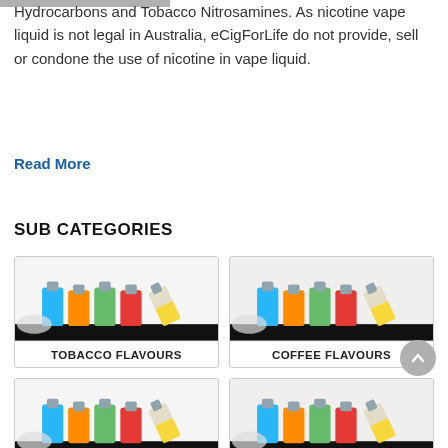Hydrocarbons and Tobacco Nitrosamines. As nicotine vape liquid is not legal in Australia, eCigForLife do not provide, sell or condone the use of nicotine in vape liquid.
Read More
SUB CATEGORIES
[Figure (photo): Colourful vape liquid bottles - Tobacco Flavours category image]
TOBACCO FLAVOURS
[Figure (photo): Colourful vape liquid bottles - Coffee Flavours category image]
COFFEE FLAVOURS
[Figure (photo): Colourful vape liquid bottles - third category, partially visible]
[Figure (photo): Colourful vape liquid bottles - fourth category, partially visible]